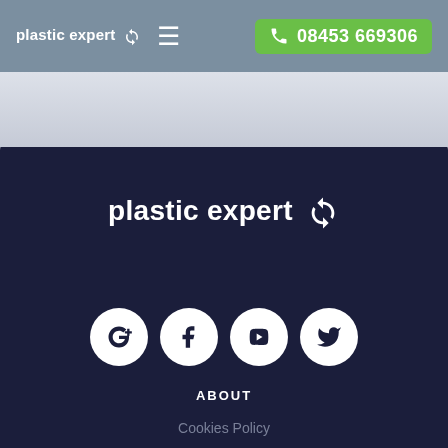plastic expert ↻  ≡   08453 669306
[Figure (logo): Plastic Expert logo with recycling arrow icon in white on dark navy background, centered on page]
[Figure (infographic): Four social media circular icon buttons in white circles on dark navy: Google+, Facebook, YouTube, Twitter]
ABOUT
Cookies Policy